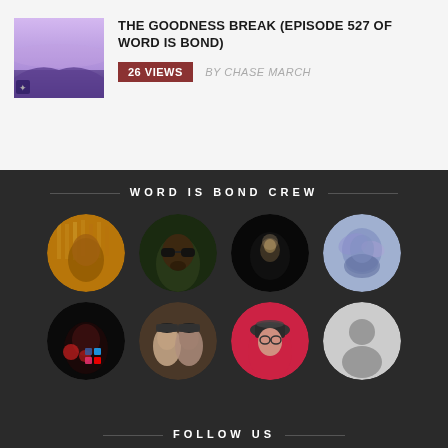[Figure (photo): Thumbnail image with purple/violet gradient landscape for podcast episode]
THE GOODNESS BREAK (EPISODE 527 OF WORD IS BOND)
26 VIEWS  BY CHASE MARCH
WORD IS BOND CREW
[Figure (photo): Grid of 8 circular avatar photos of the Word Is Bond Crew members]
FOLLOW US